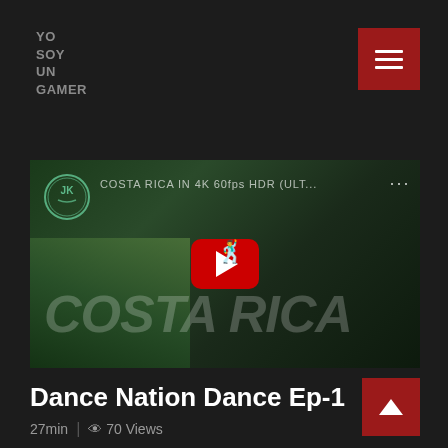YO SOY UN GAMER
[Figure (screenshot): Video thumbnail showing Costa Rica in 4K 60fps HDR with a YouTube play button overlay and channel icon. Text overlay reads COSTA RICA.]
Dance Nation Dance Ep-1
27min | 70 Views
Streamlab is a long established fact that a reader